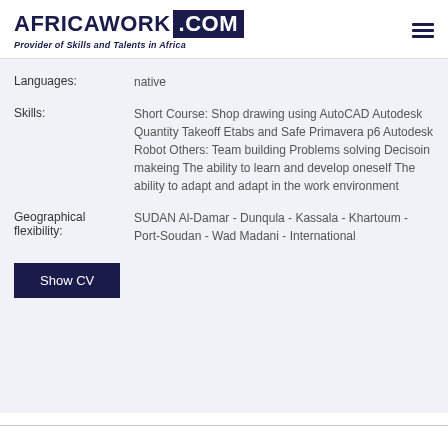[Figure (logo): AfricaWork.com logo with tagline 'Provider of Skills and Talents in Africa']
Languages: native
Skills: Short Course: Shop drawing using AutoCAD Autodesk Quantity Takeoff Etabs and Safe Primavera p6 Autodesk Robot Others: Team building Problems solving Decisoin makeing The ability to learn and develop oneself The ability to adapt and adapt in the work environment
Geographical flexibility: SUDAN Al-Damar - Dunqula - Kassala - Khartoum - Port-Soudan - Wad Madani - International
Show CV